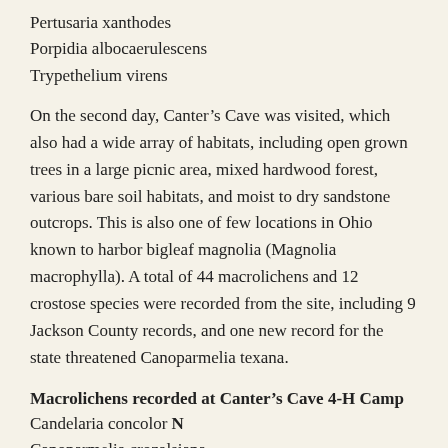Pertusaria xanthodes
Porpidia albocaerulescens
Trypethelium virens
On the second day, Canter’s Cave was visited, which also had a wide array of habitats, including open grown trees in a large picnic area, mixed hardwood forest, various bare soil habitats, and moist to dry sandstone outcrops. This is also one of few locations in Ohio known to harbor bigleaf magnolia (Magnolia macrophylla). A total of 44 macrolichens and 12 crostose species were recorded from the site, including 9 Jackson County records, and one new record for the state threatened Canoparmelia texana.
Macrolichens recorded at Canter’s Cave 4-H Camp
Candelaria concolor N
Canoparmelia crozalsiana
C. texana* N V (OSU)
Cladina rangiferina